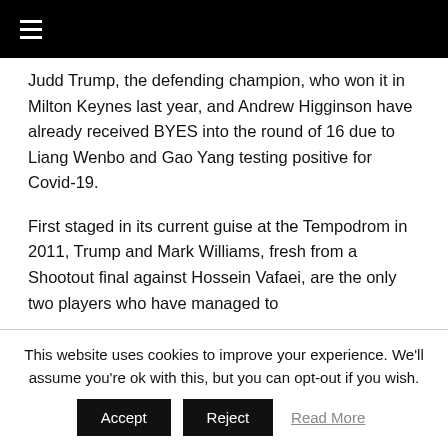☰
Judd Trump, the defending champion, who won it in Milton Keynes last year, and Andrew Higginson have already received BYES into the round of 16 due to Liang Wenbo and Gao Yang testing positive for Covid-19.
First staged in its current guise at the Tempodrom in 2011, Trump and Mark Williams, fresh from a Shootout final against Hossein Vafaei, are the only two players who have managed to
This website uses cookies to improve your experience. We'll assume you're ok with this, but you can opt-out if you wish.
Accept   Reject   Read More